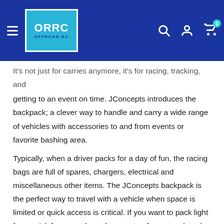ORRC OFFROAD RC — navigation header with logo, search, account, and cart icons
It's not just for carries anymore, it's for racing, tracking, and getting to an event on time. JConcepts introduces the backpack; a clever way to handle and carry a wide range of vehicles with accessories to and from events or favorite bashing area. Typically, when a driver packs for a day of fun, the racing bags are full of spares, chargers, electrical and miscellaneous other items. The JConcepts backpack is the perfect way to travel with a vehicle when space is limited or quick access is critical. If you want to pack light for a quick few runs down the street or for a complete day at the track, or on the trail, the backpack is the perfect choice. The new Finish Line design features outer woven fabric giving it a very luxurious look at first glance. Traditional front panel